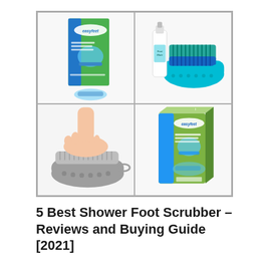[Figure (photo): 2x2 grid of product photos: top-left shows EasyFeet foot scrubber in packaging (green/blue box), top-right shows FootMate system (teal brush mat with white lotion bottle), bottom-left shows grey silicone foot scrubber mat with a foot pressing on it, bottom-right shows EasyFeet foot scrubber product box.]
5 Best Shower Foot Scrubber – Reviews and Buying Guide [2021]